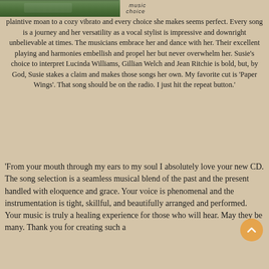[Figure (photo): Partial view of a green outdoor scene with foliage, and 'Music Choice' text overlay at top]
plaintive moan to a cozy vibrato and every choice she makes seems perfect. Every song is a journey and her versatility as a vocal stylist is impressive and downright unbelievable at times. The musicians embrace her and dance with her. Their excellent playing and harmonies embellish and propel her but never overwhelm her. Susie's choice to interpret Lucinda Williams, Gillian Welch and Jean Ritchie is bold, but, by God, Susie stakes a claim and makes those songs her own. My favorite cut is 'Paper Wings'. That song should be on the radio. I just hit the repeat button.'
'From your mouth through my ears to my soul I absolutely love your new CD. The song selection is a seamless musical blend of the past and the present handled with eloquence and grace. Your voice is phenomenal and the instrumentation is tight, skillful, and beautifully arranged and performed. Your music is truly a healing experience for those who will hear. May they be many. Thank you for creating such a